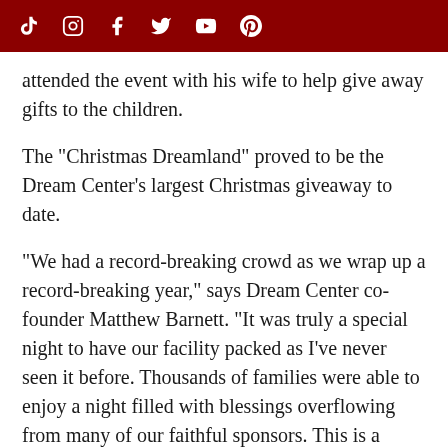[TikTok] [Instagram] [Facebook] [Twitter] [YouTube] [Pinterest]
attended the event with his wife to help give away gifts to the children.
The "Christmas Dreamland" proved to be the Dream Center's largest Christmas giveaway to date.
"We had a record-breaking crowd as we wrap up a record-breaking year," says Dream Center co-founder Matthew Barnett. "It was truly a special night to have our facility packed as I've never seen it before. Thousands of families were able to enjoy a night filled with blessings overflowing from many of our faithful sponsors. This is a Christmas season